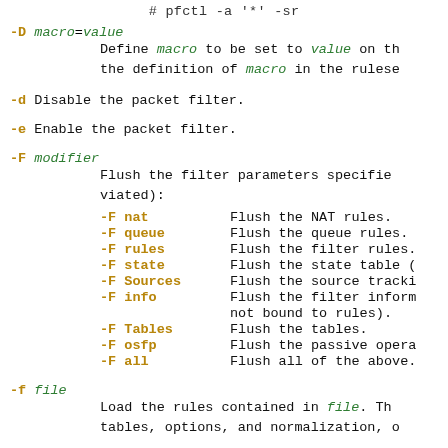# pfctl -a '*' -sr
-D macro=value
    Define macro to be set to value on the command line, overriding the definition of macro in the rulese...
-d    Disable the packet filter.
-e    Enable the packet filter.
-F modifier
    Flush the filter parameters specified (may be abbreviated):
    -F nat     Flush the NAT rules.
    -F queue   Flush the queue rules.
    -F rules   Flush the filter rules.
    -F state   Flush the state table (
    -F Sources Flush the source tracki...
    -F info    Flush the filter inform... not bound to rules).
    -F Tables  Flush the tables.
    -F osfp    Flush the passive opera...
    -F all     Flush all of the above.
-f file
    Load the rules contained in file. Tables, options, and normalization, o...